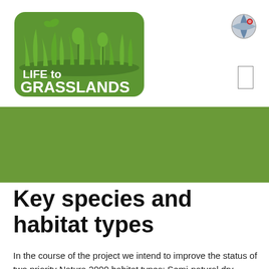[Figure (logo): LIFE to GRASSLANDS logo — green rounded rectangle with grass, flowers, butterfly silhouettes and bold white text 'LIFE to GRASSLANDS']
[Figure (other): Globe icon in top-right corner showing Earth in a 3D sphere style]
[Figure (other): Hamburger/menu icon — a narrow vertical rectangle outline]
Additional Information
Home / About the Project / Additional Information / Key species and habitat types
Key species and habitat types
In the course of the project we intend to improve the status of two priority Natura 2000 habitat types: Semi-natural dry